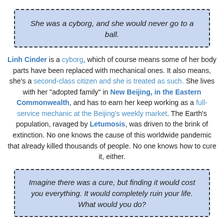She was a cyborg, and she would never go to a ball.
Linh Cinder is a cyborg, which of course means some of her body parts have been replaced with mechanical ones. It also means, she's a second-class citizen and she is treated as such. She lives with her "adopted family" in New Beijing, in the Eastern Commonwealth, and has to earn her keep working as a full-service mechanic at the Beijing's weekly market. The Earth's population, ravaged by Letumosis, was driven to the brink of extinction. No one knows the cause of this worldwide pandemic that already killed thousands of people. No one knows how to cure it, either.
Imagine there was a cure, but finding it would cost you everything. It would completely ruin your life. What would you do?
Letumosis is not the only thing that Prince Kai has to worry